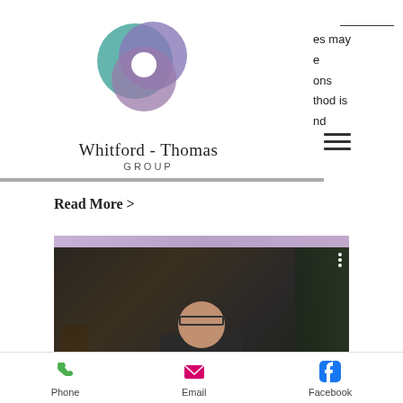[Figure (logo): Whitford-Thomas Group logo: overlapping teal and purple circular shapes forming an abstract swirl with a white center]
Whitford - Thomas GROUP
es may
e
ons
thod is
nd
[Figure (other): Hamburger menu icon (three horizontal lines)]
Read More >
[Figure (screenshot): Video player screenshot showing a person wearing glasses with text overlay: 'What is counseling? Can it benefit you?' Purple decorative bar at top.]
Phone
Email
Facebook